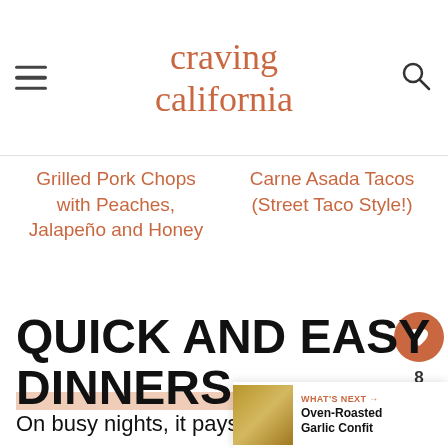craving california
Grilled Pork Chops with Peaches, Jalapeño and Honey
Carne Asada Tacos (Street Taco Style!)
QUICK AND EASY DINNERS
On busy nights, it pays to have a few easy dinner ideas up your sleeve. Here ar… and true recipes for getting dinner on the table